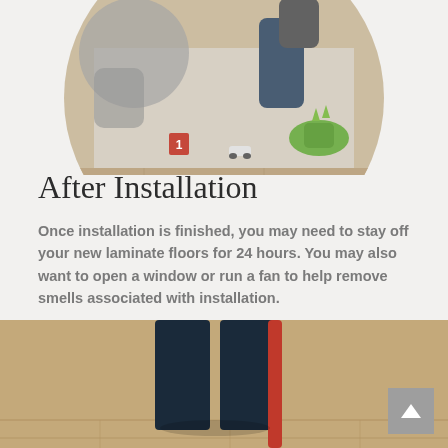[Figure (photo): Circular cropped photo of children playing on a laminate floor with toy cars and a dinosaur figurine. Children are sitting/kneeling on the floor around a rug.]
After Installation
Once installation is finished, you may need to stay off your new laminate floors for 24 hours. You may also want to open a window or run a fan to help remove smells associated with installation.
[Figure (photo): Photo of a person's legs in dark pants sweeping or mopping a laminate floor with a red-handled broom or mop. Partial view cropped at bottom of page.]